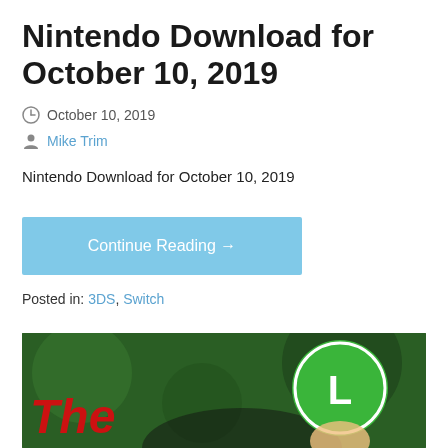Nintendo Download for October 10, 2019
October 10, 2019
Mike Trim
Nintendo Download for October 10, 2019
Continue Reading →
Posted in: 3DS, Switch
[Figure (photo): Partial image showing Luigi figurine wearing a green hat with 'L' and partial red text 'The' on a dark green blurred background]